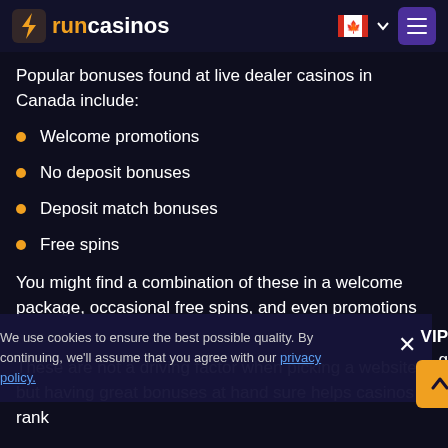runcasinos
Popular bonuses found at live dealer casinos in Canada include:
Welcome promotions
No deposit bonuses
Deposit match bonuses
Free spins
You might find a combination of these in a welcome package, occasional free spins, and even promotions ... a VIP ... access, etc.
These are not a driving factor when picking a website, but having great bonuses at hand sure helps casinos rank
We use cookies to ensure the best possible quality. By continuing, we'll assume that you agree with our privacy policy.